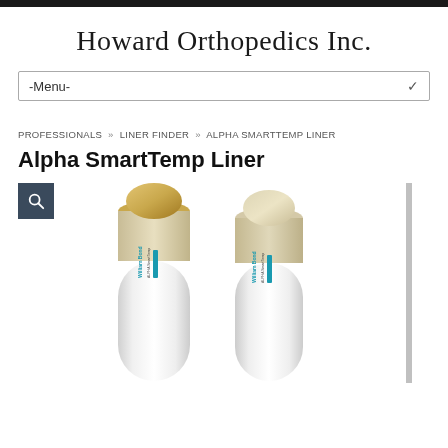Howard Orthopedics Inc.
-Menu-
PROFESSIONALS » LINER FINDER » ALPHA SMARTTEMP LINER
Alpha SmartTemp Liner
[Figure (photo): Two Alpha SmartTemp Liner prosthetic liners shown side by side with labels visible, one with gold-toned top and one with beige top, both with white bodies featuring William Bond ALPHA SmartTemp labeling in teal/blue text]